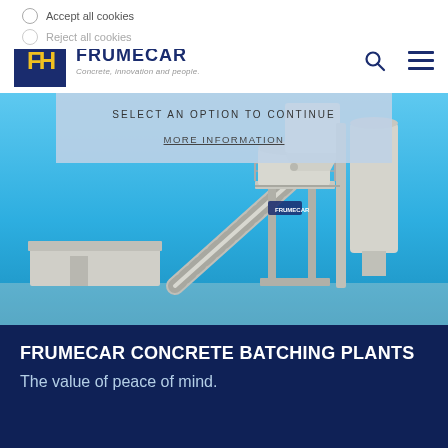[Figure (screenshot): Cookie consent banner overlay with radio buttons for 'Accept all cookies' and 'Reject all cookies', and a panel with SELECT AN OPTION TO CONTINUE and MORE INFORMATION link]
[Figure (logo): Frumecar logo: dark blue square with stylized F in yellow, company name FRUMECAR in dark blue, tagline Concrete, Innovation and people.]
[Figure (photo): Photo of a Frumecar concrete batching plant against a blue sky. Large industrial structure with conveyor belt, silos, and mixer tower with Frumecar branding.]
FRUMECAR CONCRETE BATCHING PLANTS
The value of peace of mind.